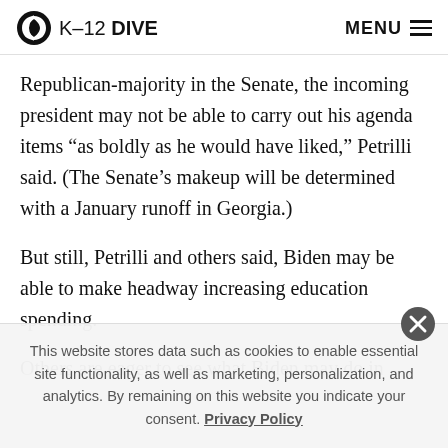K-12 DIVE  MENU
Republican-majority in the Senate, the incoming president may not be able to carry out his agenda items “as boldly as he would have liked,” Petrilli said. (The Senate’s makeup will be determined with a January runoff in Georgia.)
But still, Petrilli and others said, Biden may be able to make headway increasing education spending.
Others are eager to see what Biden may do in
This website stores data such as cookies to enable essential site functionality, as well as marketing, personalization, and analytics. By remaining on this website you indicate your consent. Privacy Policy